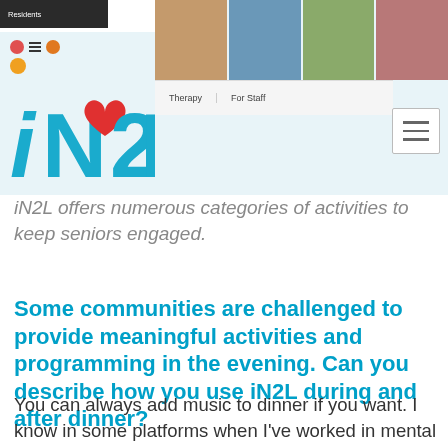[Figure (screenshot): Screenshot of iN2L website showing navigation bar with photos of seniors and the iN2L logo with a heart icon. Navigation tabs visible include Therapy and For Staff. A hamburger menu icon is in the top right.]
iN2L offers numerous categories of activities to keep seniors engaged.
Some communities are challenged to provide meaningful activities and programming in the evening. Can you describe how you use iN2L during and after dinner?
You can always add music to dinner if you want. I know in some platforms when I've worked in mental health, we've done trivia during dinner, like bar room trivia. We can use Classic Trivia,